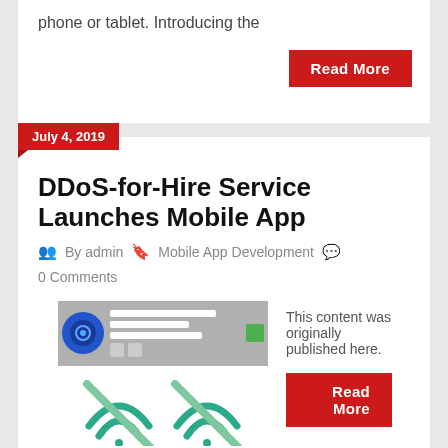phone or tablet. Introducing the
Read More
July 4, 2019
DDoS-for-Hire Service Launches Mobile App
By admin   Mobile App Development   0 Comments
[Figure (screenshot): App screenshot showing a DDoS tool interface with an icon and wifi crossed-out symbols]
This content was originally published here.
Read More
July 2, 2019
This News is For You If You Are